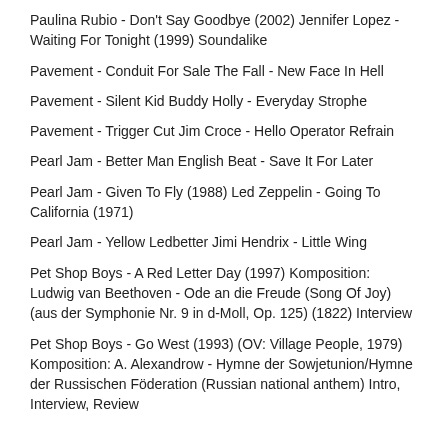Paulina Rubio - Don't Say Goodbye (2002) Jennifer Lopez - Waiting For Tonight (1999) Soundalike
Pavement - Conduit For Sale The Fall - New Face In Hell
Pavement - Silent Kid Buddy Holly - Everyday Strophe
Pavement - Trigger Cut Jim Croce - Hello Operator Refrain
Pearl Jam - Better Man English Beat - Save It For Later
Pearl Jam - Given To Fly (1988) Led Zeppelin - Going To California (1971)
Pearl Jam - Yellow Ledbetter Jimi Hendrix - Little Wing
Pet Shop Boys - A Red Letter Day (1997) Komposition: Ludwig van Beethoven - Ode an die Freude (Song Of Joy) (aus der Symphonie Nr. 9 in d-Moll, Op. 125) (1822) Interview
Pet Shop Boys - Go West (1993) (OV: Village People, 1979) Komposition: A. Alexandrow - Hymne der Sowjetunion/Hymne der Russischen Föderation (Russian national anthem) Intro, Interview, Review